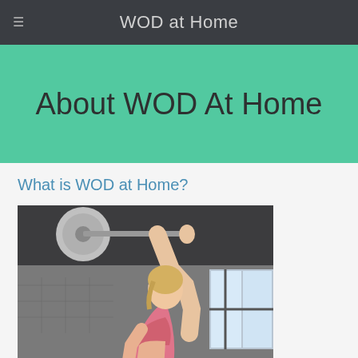WOD at Home
About WOD At Home
What is WOD at Home?
[Figure (photo): A fit blonde woman in a pink sports bra lifting a barbell overhead in a gym setting with industrial windows in the background]